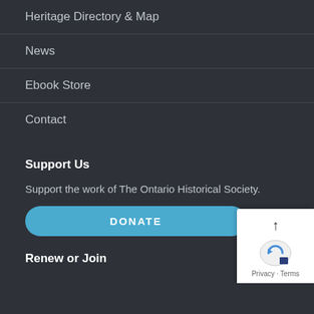Heritage Directory & Map
News
Ebook Store
Contact
Support Us
Support the work of The Ontario Historical Society.
DONATE
Renew or Join